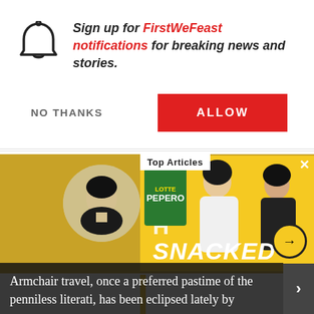Sign up for FirstWeFeast notifications for breaking news and stories.
NO THANKS
ALLOW
[Figure (screenshot): Top Articles panel with a portrait photo on the left and two men on a yellow background holding Pepero snacks, with 'SNACKED' text overlay and navigation arrow.]
Top Articles
Armchair travel, once a preferred pastime of the penniless literati, has been eclipsed lately by